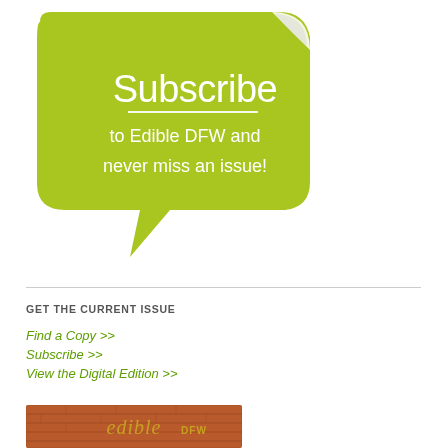[Figure (illustration): Green speech bubble / sticker with curled top-right corner, white border, containing the text 'Subscribe to Edible DFW and never miss an issue!']
GET THE CURRENT ISSUE
Find a Copy >>
Subscribe >>
View the Digital Edition >>
[Figure (photo): Photo of brick wall with Edible DFW logo text in gold italic lettering]